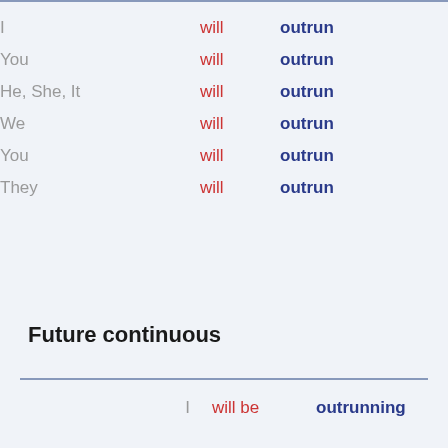| Subject | Auxiliary | Verb |
| --- | --- | --- |
| I | will | outrun |
| You | will | outrun |
| He, She, It | will | outrun |
| We | will | outrun |
| You | will | outrun |
| They | will | outrun |
Future continuous
| Subject | Auxiliary | Verb |
| --- | --- | --- |
| I | will be | outrunning |